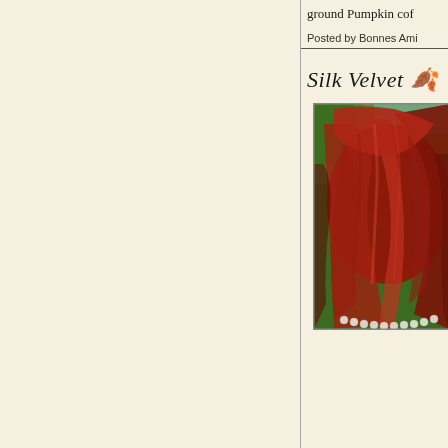ground Pumpkin cof
Posted by Bonnes Ami
Silk Velvet 🍂
[Figure (photo): A person wearing a rich red/orange silk velvet wrap or shawl draped over their head and shoulders, with a pearl necklace visible at the bottom, against a green tree background.]